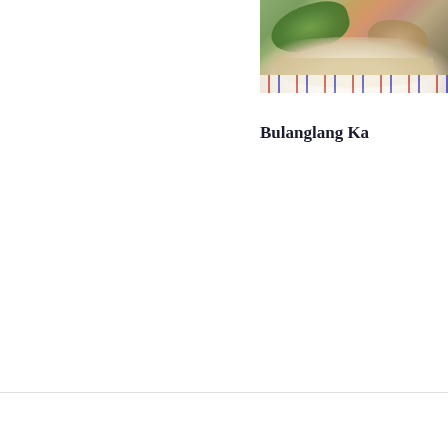[Figure (photo): A bowl of Bulanglang Kambing soup with green leafy vegetables and meat pieces in broth, placed on a striped cloth]
Bulanglang Ka